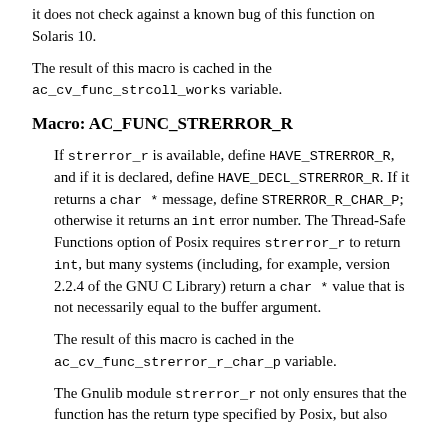it does not check against a known bug of this function on Solaris 10.
The result of this macro is cached in the ac_cv_func_strcoll_works variable.
Macro: AC_FUNC_STRERROR_R
If strerror_r is available, define HAVE_STRERROR_R, and if it is declared, define HAVE_DECL_STRERROR_R. If it returns a char * message, define STRERROR_R_CHAR_P; otherwise it returns an int error number. The Thread-Safe Functions option of Posix requires strerror_r to return int, but many systems (including, for example, version 2.2.4 of the GNU C Library) return a char * value that is not necessarily equal to the buffer argument.
The result of this macro is cached in the ac_cv_func_strerror_r_char_p variable.
The Gnulib module strerror_r not only ensures that the function has the return type specified by Posix, but also